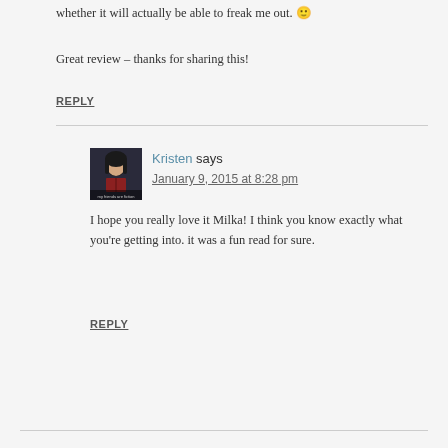whether it will actually be able to freak me out. 🙂
Great review – thanks for sharing this!
REPLY
Kristen says
January 9, 2015 at 8:28 pm
I hope you really love it Milka! I think you know exactly what you're getting into. it was a fun read for sure.
REPLY